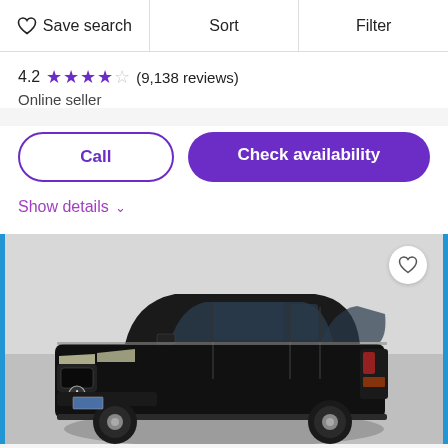Save search | Sort | Filter
4.2 ★★★★☆ (9,138 reviews)
Online seller
Call
Check availability
Show details ∨
[Figure (photo): Black Acura MDX SUV photographed on a gray studio floor with Carvana watermark in background. Blue vertical borders on left and right sides. Heart/favorite icon in top right corner.]